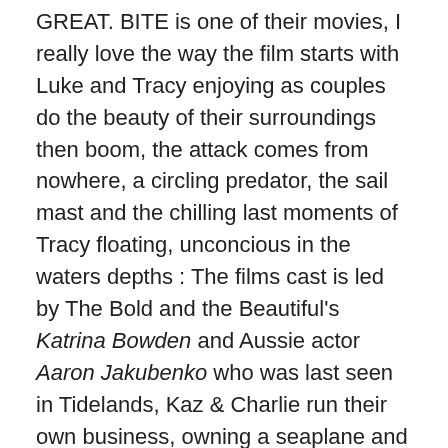GREAT. BITE is one of their movies, I really love the way the film starts with Luke and Tracy enjoying as couples do the beauty of their surroundings then boom, the attack comes from nowhere, a circling predator, the sail mast and the chilling last moments of Tracy floating, unconcious in the waters depths : The films cast is led by The Bold and the Beautiful's Katrina Bowden and Aussie actor Aaron Jakubenko who was last seen in Tidelands, Kaz & Charlie run their own business, owning a seaplane and taking passengers to some of the scenic spots in the country, I loved Katrina & Aaron's energy, their chemistry and both are believable in their respective roles, their joined by the talented trio of Tim Kano, Kimie Tsukakoshi who play the tourists out to see the beauty of the area and Te Kohe Tuhaka's Benny a likeable part of the crew stealing many of the scenes with his humor and deadpan stares. some of the film was shot just north of Brisbane on